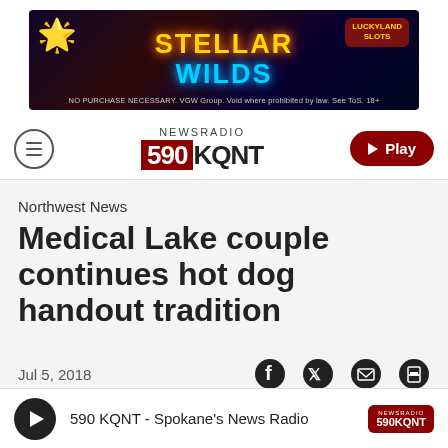[Figure (other): Advertisement banner for 'Stellar Wilds' game by LuckyLand Slots. Dark space-themed background with colorful text. Fine print: NO PURCHASE NECESSARY. VGW Group. Void where prohibited by law. See ToS. 18+]
NEWSRADIO 590 KQNT
Northwest News
Medical Lake couple continues hot dog handout tradition
Jul 5, 2018
[Figure (other): Audio player bar: play button, '590 KQNT - Spokane's News Radio', small KQNT logo]